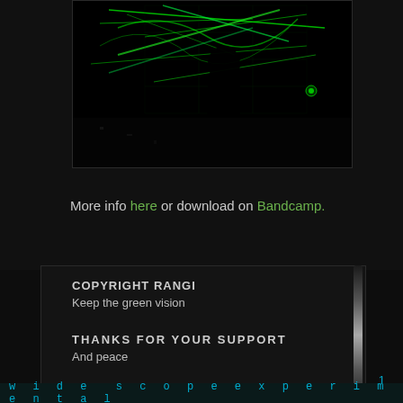[Figure (photo): Dark concert/performance photo with green light streaks and a silhouetted figure in front of a screen with green circuit-like patterns]
More info here or download on Bandcamp.
COPYRIGHT RANGI
Keep the green vision
THANKS FOR YOUR SUPPORT
And peace
w i d e  s c o p e e x p e r i m e n t a l